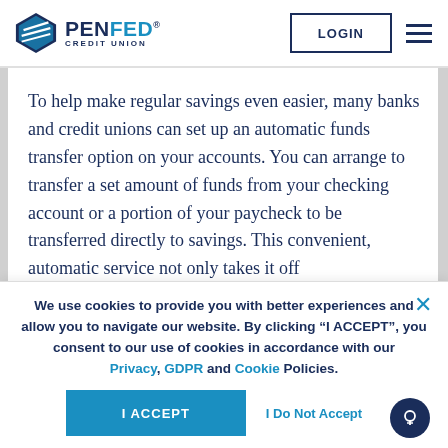[Figure (logo): PenFed Credit Union logo with pentagon shield icon in blue and teal, text reads PENFED CREDIT UNION]
To help make regular savings even easier, many banks and credit unions can set up an automatic funds transfer option on your accounts. You can arrange to transfer a set amount of funds from your checking account or a portion of your paycheck to be transferred directly to savings. This convenient, automatic service not only takes it off
We use cookies to provide you with better experiences and allow you to navigate our website. By clicking “I ACCEPT”, you consent to our use of cookies in accordance with our Privacy, GDPR and Cookie Policies.